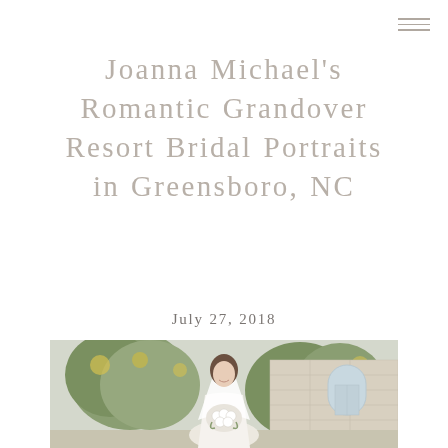Joanna Michael's Romantic Grandover Resort Bridal Portraits in Greensboro, NC
July 27, 2018
[Figure (photo): Bridal portrait of a woman in a white wedding dress and veil holding a bouquet of white flowers, standing in front of a stone building with trees in the background at Grandover Resort]